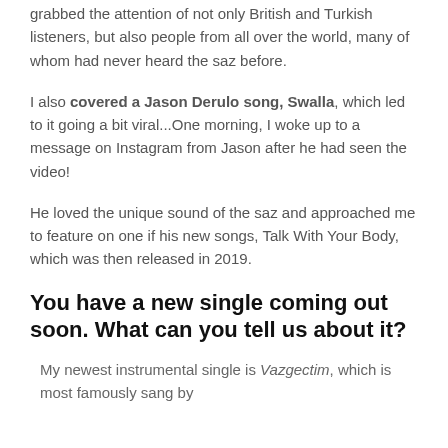grabbed the attention of not only British and Turkish listeners, but also people from all over the world, many of whom had never heard the saz before.
I also covered a Jason Derulo song, Swalla, which led to it going a bit viral...One morning, I woke up to a message on Instagram from Jason after he had seen the video!
He loved the unique sound of the saz and approached me to feature on one if his new songs, Talk With Your Body, which was then released in 2019.
You have a new single coming out soon. What can you tell us about it?
My newest instrumental single is Vazgectim, which is most famously sang by